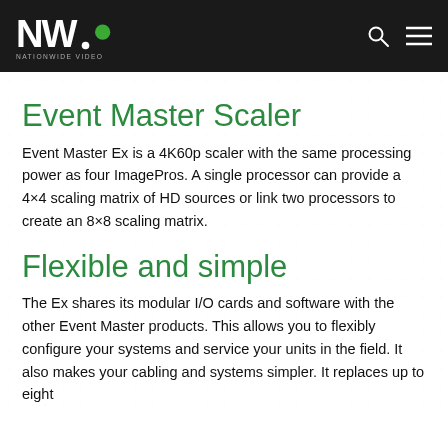Nationwide Video logo header
Event Master Scaler
Event Master Ex is a 4K60p scaler with the same processing power as four ImagePros. A single processor can provide a 4×4 scaling matrix of HD sources or link two processors to create an 8×8 scaling matrix.
Flexible and simple
The Ex shares its modular I/O cards and software with the other Event Master products. This allows you to flexibly configure your systems and service your units in the field. It also makes your cabling and systems simpler. It replaces up to eight